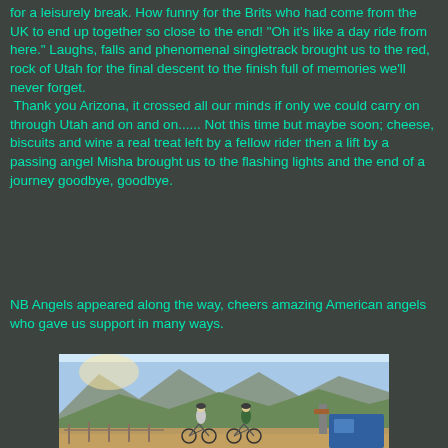for a leisurely break.  How funny for the Brits who had come from the UK to end up together so close to the end!  "Oh it's like a day ride from here."  Laughs, falls and phenomenal singletrack  brought us to the red, rock of Utah for the final descent to the finish full of memories we'll never forget.
 Thank you Arizona, it crossed all our minds if only we could carry on through Utah and on and on......  Not this time but maybe soon; cheese, biscuits and wine a real treat left by a fellow rider then a lift by a passing angel Misha brought us to the flashing lights and the end of a journey goodbye, goodbye.
NB  Angels appeared along the way, cheers amazing American angels who gave us support in many ways.
[Figure (photo): Two cyclists with mountain bikes standing on a dirt trail with hills and mountains in the background under a clear sky.]